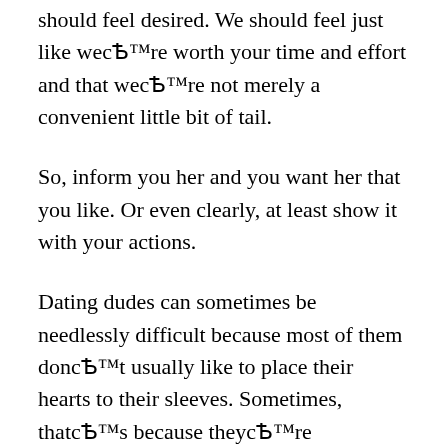should feel desired. We should feel just like we're worth your time and effort and that we're not merely a convenient little bit of tail.
So, inform you her and you want her that you like. Or even clearly, at least show it with your actions.
Dating dudes can sometimes be needlessly difficult because most of them don't usually like to place their hearts to their sleeves. Sometimes, that's because they're emotionally unavailable, and that is a entire subject on its very own. But frequently, it is simply themselves vulnerable because they don't want to make.